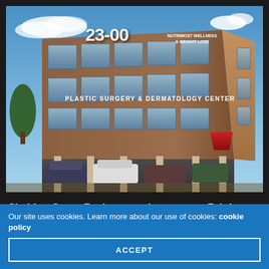[Figure (photo): Exterior photo of a multi-story brick commercial office building with address number 23-00 displayed prominently. Signs on the building read 'Nutrimost Wellness & Weight Loss' and 'Plastic Surgery & Dermatology Center'. Parking lot visible beneath building with cars parked. Blue sky with clouds in background.]
Sheldon Gross Realty tapped to manage Fair Lawn medical office building
Our site uses cookies. Learn more about our use of cookies: cookie policy
ACCEPT